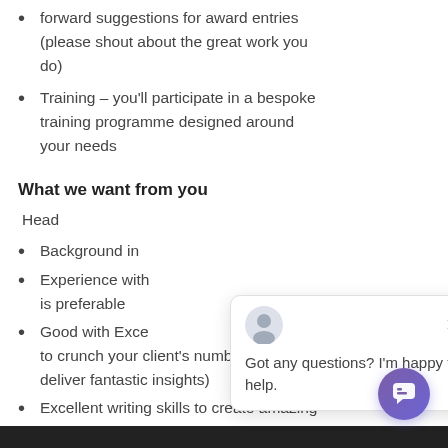forward suggestions for award entries (please shout about the great work you do)
Training – you'll participate in a bespoke training programme designed around your needs
What we want from you
Head
Background in
Experience with is preferable
Good with Exce to crunch your client's numbers and deliver fantastic insights)
Excellent writing skills to create amazing